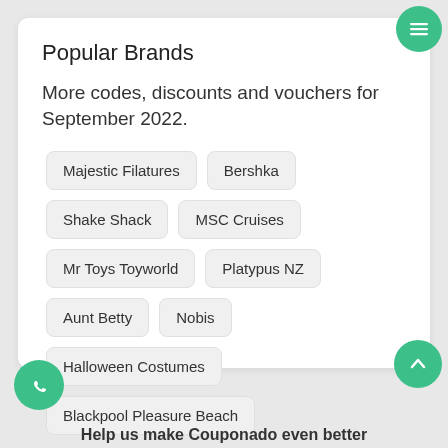Popular Brands
More codes, discounts and vouchers for September 2022.
Majestic Filatures
Bershka
Shake Shack
MSC Cruises
Mr Toys Toyworld
Platypus NZ
Aunt Betty
Nobis
Halloween Costumes
Blackpool Pleasure Beach
Browse A-Z
Help us make Couponado even better